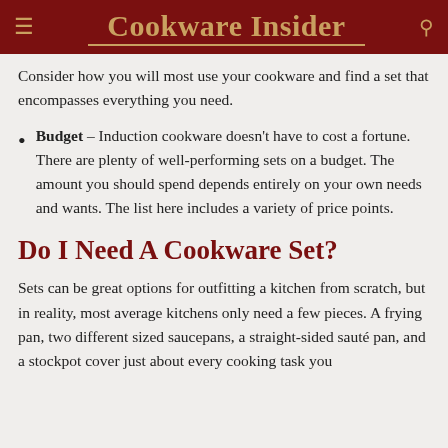Cookware Insider
Consider how you will most use your cookware and find a set that encompasses everything you need.
Budget – Induction cookware doesn't have to cost a fortune. There are plenty of well-performing sets on a budget. The amount you should spend depends entirely on your own needs and wants. The list here includes a variety of price points.
Do I Need A Cookware Set?
Sets can be great options for outfitting a kitchen from scratch, but in reality, most average kitchens only need a few pieces. A frying pan, two different sized saucepans, a straight-sided sauté pan, and a stockpot cover just about every cooking task you